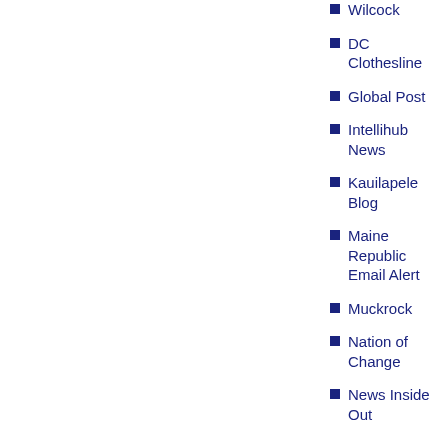Wilcock
DC Clothesline
Global Post
Intellihub News
Kauilapele Blog
Maine Republic Email Alert
Muckrock
Nation of Change
News Inside Out
SITES BUILDING